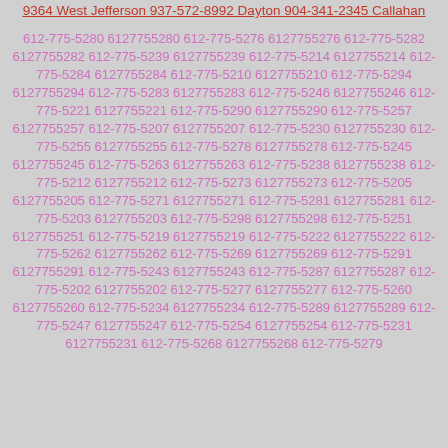9364 West Jefferson 937-572-8992 Dayton 904-341-2345 Callahan
612-775-5280 6127755280 612-775-5276 6127755276 612-775-5282 6127755282 612-775-5239 6127755239 612-775-5214 6127755214 612-775-5284 6127755284 612-775-5210 6127755210 612-775-5294 6127755294 612-775-5283 6127755283 612-775-5246 6127755246 612-775-5221 6127755221 612-775-5290 6127755290 612-775-5257 6127755257 612-775-5207 6127755207 612-775-5230 6127755230 612-775-5255 6127755255 612-775-5278 6127755278 612-775-5245 6127755245 612-775-5263 6127755263 612-775-5238 6127755238 612-775-5212 6127755212 612-775-5273 6127755273 612-775-5205 6127755205 612-775-5271 6127755271 612-775-5281 6127755281 612-775-5203 6127755203 612-775-5298 6127755298 612-775-5251 6127755251 612-775-5219 6127755219 612-775-5222 6127755222 612-775-5262 6127755262 612-775-5269 6127755269 612-775-5291 6127755291 612-775-5243 6127755243 612-775-5287 6127755287 612-775-5202 6127755202 612-775-5277 6127755277 612-775-5260 6127755260 612-775-5234 6127755234 612-775-5289 6127755289 612-775-5247 6127755247 612-775-5254 6127755254 612-775-5231 6127755231 612-775-5268 6127755268 612-775-5279